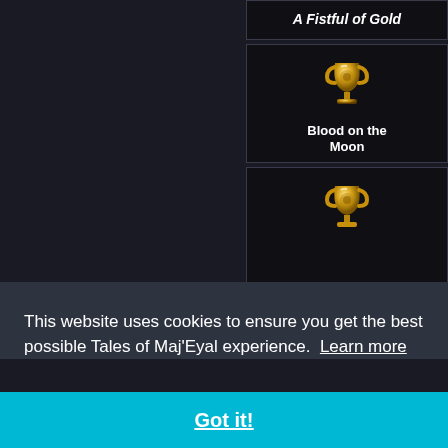A Fistful of Gold
[Figure (illustration): Gold trophy cup icon for achievement 'Blood on the Moon']
Blood on the Moon
[Figure (illustration): Gold trophy cup icon for achievement 'Reclaiming Gorlul's...' (partially visible)]
This website uses cookies to ensure you get the best possible Tales of Maj'Eyal experience.  Learn more
Got it!
Reclaiming Gorlul's